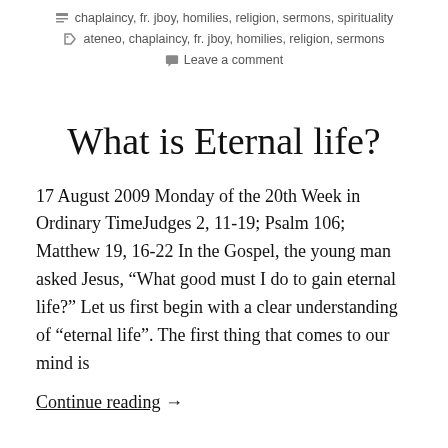chaplaincy, fr. jboy, homilies, religion, sermons, spirituality
ateneo, chaplaincy, fr. jboy, homilies, religion, sermons
Leave a comment
What is Eternal life?
17 August 2009 Monday of the 20th Week in Ordinary TimeJudges 2, 11-19; Psalm 106; Matthew 19, 16-22 In the Gospel, the young man asked Jesus, “What good must I do to gain eternal life?” Let us first begin with a clear understanding of “eternal life”. The first thing that comes to our mind is
Continue reading →